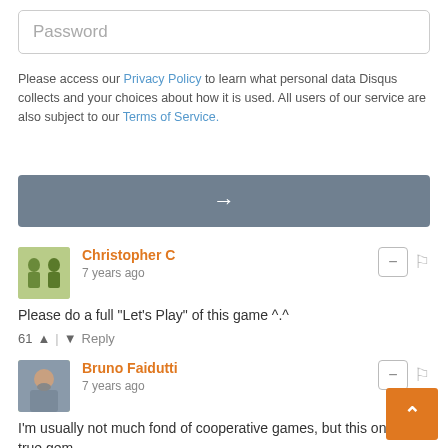Password
Please access our Privacy Policy to learn what personal data Disqus collects and your choices about how it is used. All users of our service are also subject to our Terms of Service.
[Figure (other): Arrow/submit button (grey background with white right-arrow)]
Christopher C
7 years ago
Please do a full "Let's Play" of this game ^.^
61 | Reply
Bruno Faidutti
7 years ago
I'm usually not much fond of cooperative games, but this one is a true gem.

If I understood well what I've been told, the French and English edition will have the same places and weapons cards, as well as most of the dream cards. The character cards will be different.